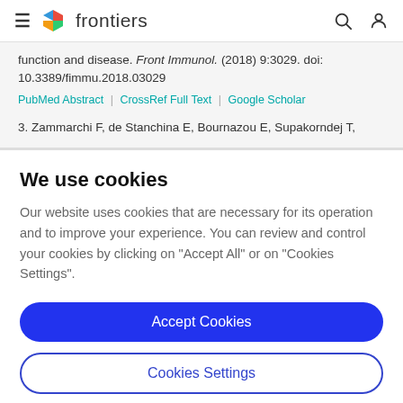frontiers
function and disease. Front Immunol. (2018) 9:3029. doi: 10.3389/fimmu.2018.03029
PubMed Abstract | CrossRef Full Text | Google Scholar
3. Zammarchi F, de Stanchina E, Bournazou E, Supakorndej T,
We use cookies
Our website uses cookies that are necessary for its operation and to improve your experience. You can review and control your cookies by clicking on "Accept All" or on "Cookies Settings".
Accept Cookies
Cookies Settings